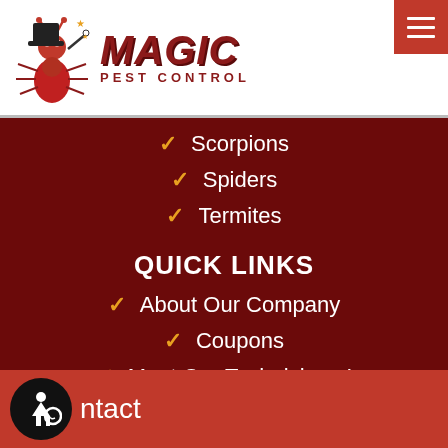[Figure (logo): Magic Pest Control logo with red cartoon ant character holding a top hat and magic wand]
Scorpions
Spiders
Termites
QUICK LINKS
About Our Company
Coupons
Meet Our Technicians !
ntact